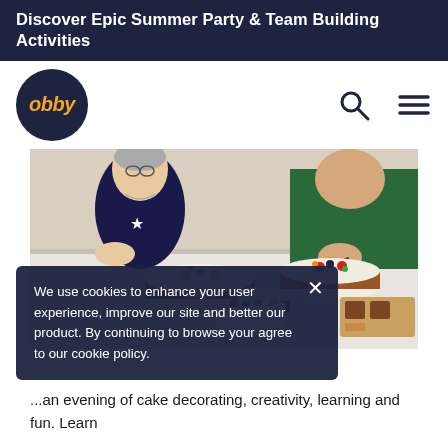Discover Epic Summer Party & Team Building Activities
[Figure (logo): Obby logo — dark navy circle with orange italic text 'obby']
[Figure (photo): People decorating cakes at a table covered with decorating supplies, edible colors, and finished cakes with berries and cream]
We use cookies to enhance your user experience, improve our site and better our product. By continuing to browse your agree to our cookie policy.
...an evening of cake decorating, creativity, learning and fun. Learn